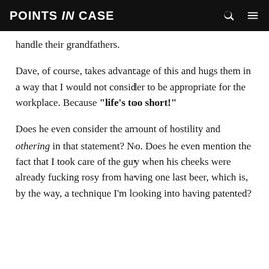POINTS IN CASE
handle their grandfathers.
Dave, of course, takes advantage of this and hugs them in a way that I would not consider to be appropriate for the workplace. Because "life's too short!"
Does he even consider the amount of hostility and othering in that statement? No. Does he even mention the fact that I took care of the guy when his cheeks were already fucking rosy from having one last beer, which is, by the way, a technique I'm looking into having patented?